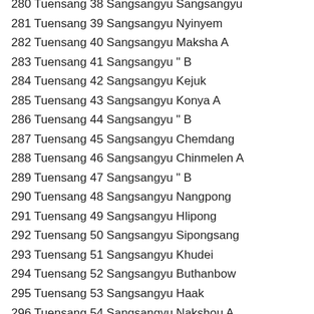280 Tuensang 38 Sangsangyu Sangsangyu
281 Tuensang 39 Sangsangyu Nyinyem
282 Tuensang 40 Sangsangyu Maksha A
283 Tuensang 41 Sangsangyu " B
284 Tuensang 42 Sangsangyu Kejuk
285 Tuensang 43 Sangsangyu Konya A
286 Tuensang 44 Sangsangyu " B
287 Tuensang 45 Sangsangyu Chemdang
288 Tuensang 46 Sangsangyu Chinmelen A
289 Tuensang 47 Sangsangyu " B
290 Tuensang 48 Sangsangyu Nangpong
291 Tuensang 49 Sangsangyu Hlipong
292 Tuensang 50 Sangsangyu Sipongsang
293 Tuensang 51 Sangsangyu Khudei
294 Tuensang 52 Sangsangyu Buthanbow
295 Tuensang 53 Sangsangyu Haak
296 Tuensang 54 Sangsangyu Nakshou A
297 Tuensang 55 Sangsangyu Nongchung
298 Tuensang 56 Sangsangyu Lokung
299 Tuensang 57 Sangsangyu Momching
300 Tuensang 58 Sangsangyu Sangshen